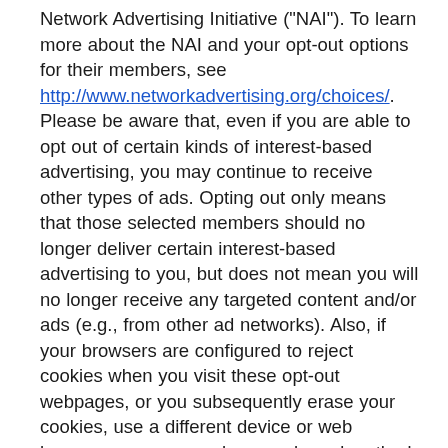Network Advertising Initiative ("NAI"). To learn more about the NAI and your opt-out options for their members, see http://www.networkadvertising.org/choices/. Please be aware that, even if you are able to opt out of certain kinds of interest-based advertising, you may continue to receive other types of ads. Opting out only means that those selected members should no longer deliver certain interest-based advertising to you, but does not mean you will no longer receive any targeted content and/or ads (e.g., from other ad networks). Also, if your browsers are configured to reject cookies when you visit these opt-out webpages, or you subsequently erase your cookies, use a different device or web browser or use a non-browser-based method of access (e.g., mobile app), your NAI / DAA browser-based opt-out